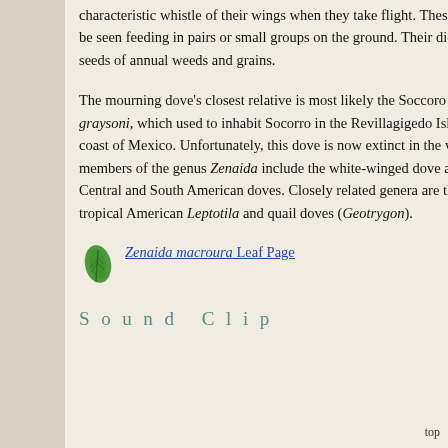characteristic whistle of their wings when they take flight. These doves can often be seen feeding in pairs or small groups on the ground. Their diet consists of seeds of annual weeds and grains.
The mourning dove's closest relative is most likely the Soccoro dove, Zenaida graysoni, which used to inhabit Socorro in the Revillagigedo Islands off the west coast of Mexico. Unfortunately, this dove is now extinct in the wild. Other members of the genus Zenaida include the white-winged dove and several other Central and South American doves. Closely related genera are the mostly tropical American Leptotila and quail doves (Geotrygon).
[Figure (illustration): Green leaf icon linking to Zenaida macroura Leaf Page]
Zenaida macroura Leaf Page
Sound Clip
top